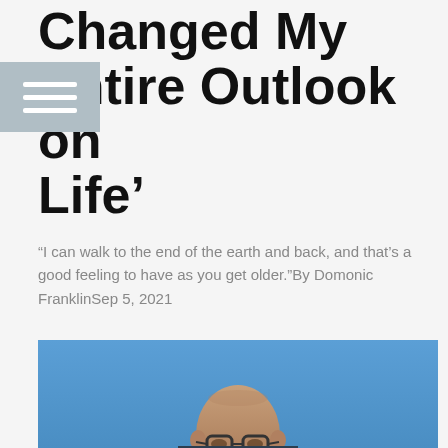Changed My Entire Outlook on Life'
“I can walk to the end of the earth and back, and that’s a good feeling to have as you get older.”By Domonic FranklinSep 5, 2021
[Figure (photo): Outdoor photo of a bald man wearing glasses, photographed from below against a blue sky background.]